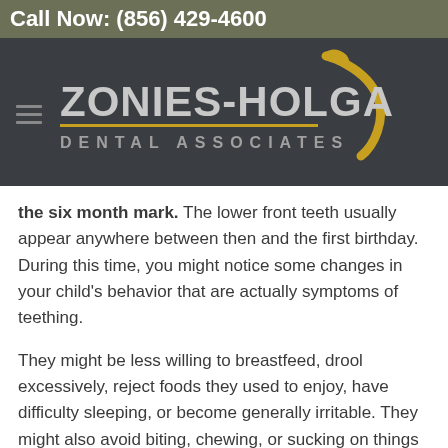Call Now: (856) 429-4600
[Figure (logo): Zonies-Holgado Dental Associates logo on dark background with golden tooth icon and hamburger menu icon]
the six month mark. The lower front teeth usually appear anywhere between then and the first birthday. During this time, you might notice some changes in your child's behavior that are actually symptoms of teething.
They might be less willing to breastfeed, drool excessively, reject foods they used to enjoy, have difficulty sleeping, or become generally irritable. They might also avoid biting, chewing, or sucking on things — or start biting, chewing, and sucking on everything they...